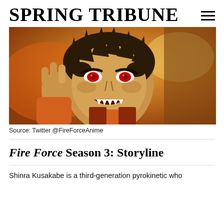SPRING TRIBUNE
[Figure (illustration): Anime screenshot of Shinra Kusakabe from Fire Force with red eyes, dark spiky hair, open mouth showing sharp teeth, holding up fingers, wearing orange uniform, orange and yellow fire-lit background.]
Source: Twitter @FireForceAnime
Fire Force Season 3: Storyline
Shinra Kusakabe is a third-generation pyrokinetic who